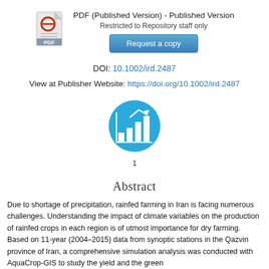[Figure (other): PDF file icon with red circle and text PDF at bottom]
PDF (Published Version) - Published Version
Restricted to Repository staff only
Request a copy
DOI: 10.1002/ird.2487
View at Publisher Website: https://doi.org/10.1002/ird.2487
[Figure (infographic): Blue circular icon with white bar chart and upward arrow, download/metric count icon]
1
Abstract
Due to shortage of precipitation, rainfed farming in Iran is facing numerous challenges. Understanding the impact of climate variables on the production of rainfed crops in each region is of utmost importance for dry farming. Based on 11-year (2004–2015) data from synoptic stations in the Qazvin province of Iran, a comprehensive simulation analysis was conducted with AquaCrop-GIS to study the yield and the green